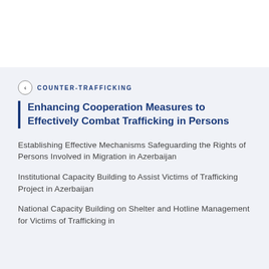COUNTER-TRAFFICKING
Enhancing Cooperation Measures to Effectively Combat Trafficking in Persons
Establishing Effective Mechanisms Safeguarding the Rights of Persons Involved in Migration in Azerbaijan
Institutional Capacity Building to Assist Victims of Trafficking Project in Azerbaijan
National Capacity Building on Shelter and Hotline Management for Victims of Trafficking in